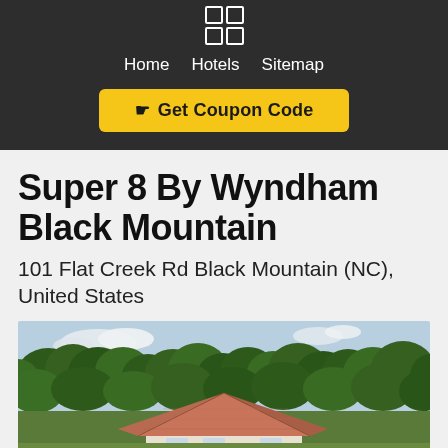Home  Hotels  Sitemap
Get Coupon Code
Super 8 By Wyndham Black Mountain
101 Flat Creek Rd Black Mountain (NC), United States
[Figure (photo): Exterior photo of Super 8 By Wyndham Black Mountain hotel showing a gazebo-style roof structure with trees in the background under a partly cloudy sky]